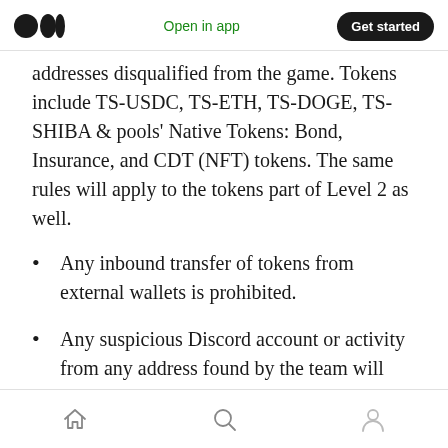Medium logo | Open in app | Get started
addresses disqualified from the game. Tokens include TS-USDC, TS-ETH, TS-DOGE, TS-SHIBA & pools' Native Tokens: Bond, Insurance, and CDT (NFT) tokens. The same rules will apply to the tokens part of Level 2 as well.
Any inbound transfer of tokens from external wallets is prohibited.
Any suspicious Discord account or activity from any address found by the team will lead to disqualification.
Home | Search | Profile